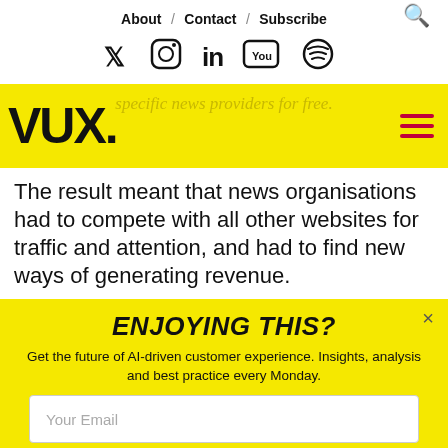About / Contact / Subscribe
[Figure (screenshot): Social media icons row: Twitter, Instagram, LinkedIn, YouTube, Spotify]
[Figure (logo): VUX. logo on yellow background with hamburger menu icon]
specific news providers for free.
The result meant that news organisations had to compete with all other websites for traffic and attention, and had to find new ways of generating revenue.
ENJOYING THIS?
Get the future of AI-driven customer experience. Insights, analysis and best practice every Monday.
Your Email
Subscribe